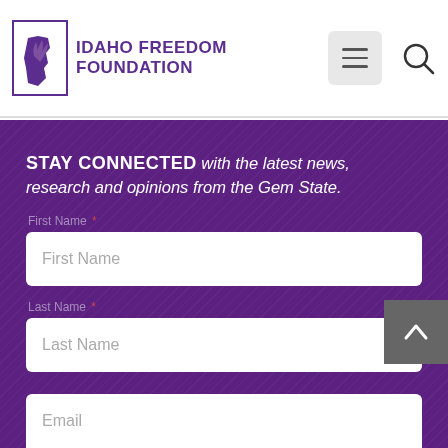Idaho Freedom Foundation
STAY CONNECTED with the latest news, research and opinions from the Gem State.
First Name *
First Name (input field placeholder)
Last Name *
Last Name (input field placeholder)
Email (input field placeholder)